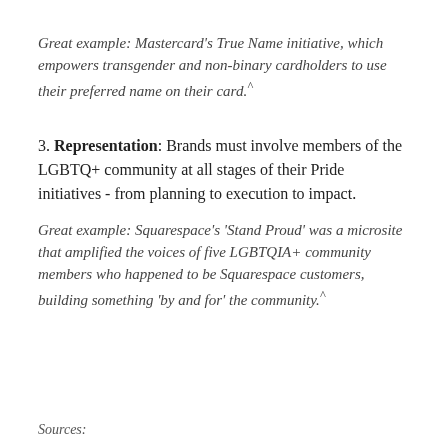Great example: Mastercard's True Name initiative, which empowers transgender and non-binary cardholders to use their preferred name on their card.^
3. Representation: Brands must involve members of the LGBTQ+ community at all stages of their Pride initiatives - from planning to execution to impact.
Great example: Squarespace's 'Stand Proud' was a microsite that amplified the voices of five LGBTQIA+ community members who happened to be Squarespace customers, building something 'by and for' the community.^
Sources: